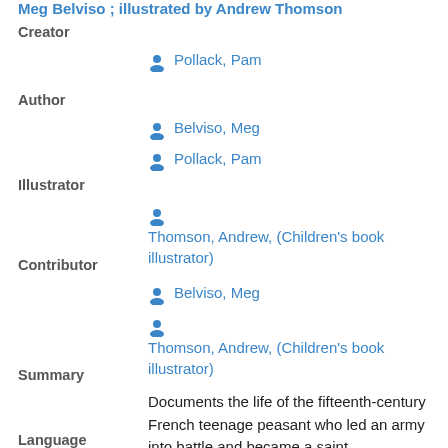Meg Belviso ; illustrated by Andrew Thomson
Creator
Pollack, Pam
Author
Belviso, Meg
Pollack, Pam
Illustrator
Thomson, Andrew, (Children's book illustrator)
Contributor
Belviso, Meg
Thomson, Andrew, (Children's book illustrator)
Summary
Documents the life of the fifteenth-century French teenage peasant who led an army into battle and became a saint
Language